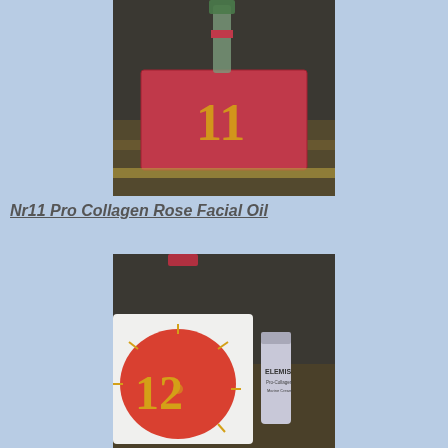[Figure (photo): A red gift box with the number 11 printed in gold on it, placed on a dark surface. A bottle with a red ribbon is visible behind the box.]
Nr11 Pro Collagen Rose Facial Oil
[Figure (photo): A red and white advent calendar box showing the number 12, with an Elemis product tube placed next to it on a dark surface.]